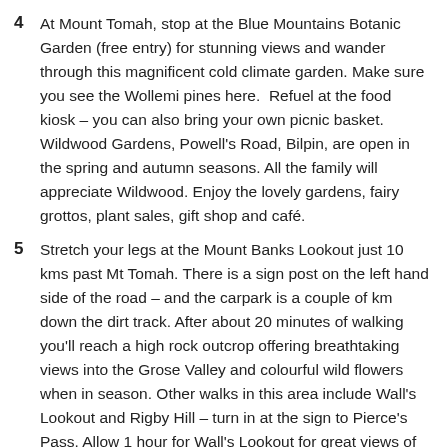4  At Mount Tomah, stop at the Blue Mountains Botanic Garden (free entry) for stunning views and wander through this magnificent cold climate garden. Make sure you see the Wollemi pines here.  Refuel at the food kiosk – you can also bring your own picnic basket. Wildwood Gardens, Powell's Road, Bilpin, are open in the spring and autumn seasons. All the family will appreciate Wildwood. Enjoy the lovely gardens, fairy grottos, plant sales, gift shop and café.
5  Stretch your legs at the Mount Banks Lookout just 10 kms past Mt Tomah. There is a sign post on the left hand side of the road – and the carpark is a couple of km down the dirt track. After about 20 minutes of walking you'll reach a high rock outcrop offering breathtaking views into the Grose Valley and colourful wild flowers when in season. Other walks in this area include Wall's Lookout and Rigby Hill – turn in at the sign to Pierce's Pass. Allow 1 hour for Wall's Lookout for great views of the Grose Valley or 1.5 hours for Rigby Hill.
6  Continue west, turning off the road to Mount Wilson.  In